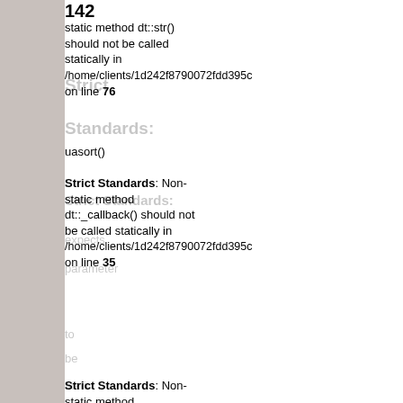142
static method dt::str() should not be called statically in /home/clients/1d242f8790072fdd395c on line 76
Strict Standards: Non-static method dt::_callback() should not be called statically in /home/clients/1d242f8790072fdd395c on line 35
Strict Standards: Non-static method dt::_callback() should not be called statically in /home/clients/1d242f8790072fdd395c on line 35
Strict Standards: Non-static method dt::str() should not be called statically in /home/clients/1d242f8790072fdd395c on line 76
Strict Standards: Non-static method dt::_callback() should not be called statically in /home/clients/1d242f8790072fdd395c